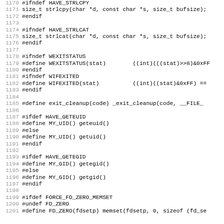Code listing lines 1170-1201, C preprocessor header file with conditional compilation directives for strlcpy, strlcat, WEXITSTATUS, WIFEXITED, exit_cleanup, HAVE_GETEUID/MY_UID, HAVE_GETEGID/MY_GID, FORCE_FD_ZERO_MEMSET/FD_ZERO